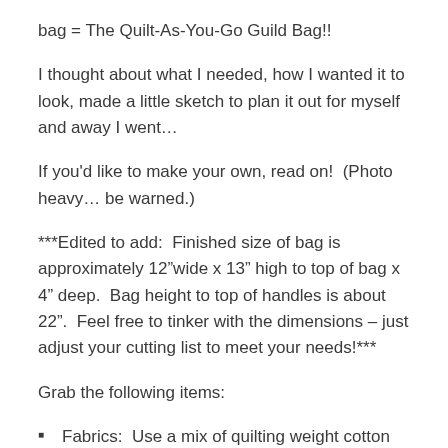bag = The Quilt-As-You-Go Guild Bag!!
I thought about what I needed, how I wanted it to look, made a little sketch to plan it out for myself and away I went…
If you'd like to make your own, read on!  (Photo heavy… be warned.)
***Edited to add:  Finished size of bag is approximately 12"wide x 13" high to top of bag x 4" deep.  Bag height to top of handles is about 22".  Feel free to tinker with the dimensions – just adjust your cutting list to meet your needs!***
Grab the following items:
Fabrics:  Use a mix of quilting weight cotton fabrics